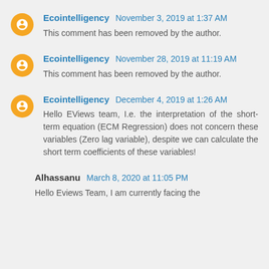Ecointelligency November 3, 2019 at 1:37 AM
This comment has been removed by the author.
Ecointelligency November 28, 2019 at 11:19 AM
This comment has been removed by the author.
Ecointelligency December 4, 2019 at 1:26 AM
Hello EViews team, I.e. the interpretation of the short-term equation (ECM Regression) does not concern these variables (Zero lag variable), despite we can calculate the short term coefficients of these variables!
Alhassanu March 8, 2020 at 11:05 PM
Hello Eviews Team, I am currently facing the